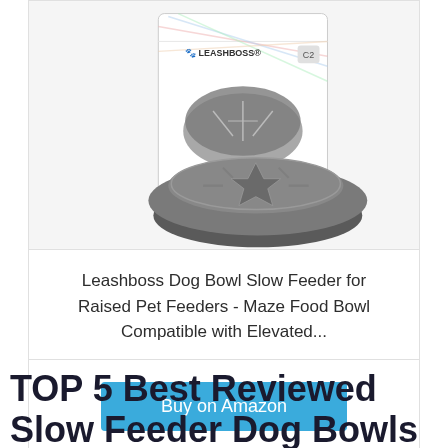[Figure (photo): Product photo of Leashboss Star Slow Feeder dog bowl - showing the product box and a grey maze-pattern dog bowl in front of it. The box shows the Leashboss logo and 'STAR SLOW' text visible. The bowl is round, grey, with star/maze interior ridges.]
Leashboss Dog Bowl Slow Feeder for Raised Pet Feeders - Maze Food Bowl Compatible with Elevated...
Buy on Amazon
TOP 5 Best Reviewed Slow Feeder Dog Bowls in 2022